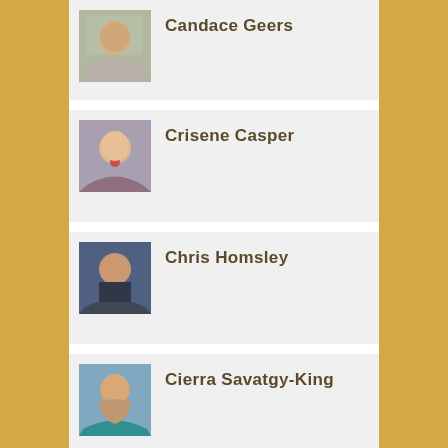Candace Geers
Crisene Casper
Chris Homsley
Cierra Savatgy-King
Daniel Chapman
Daniel Hill